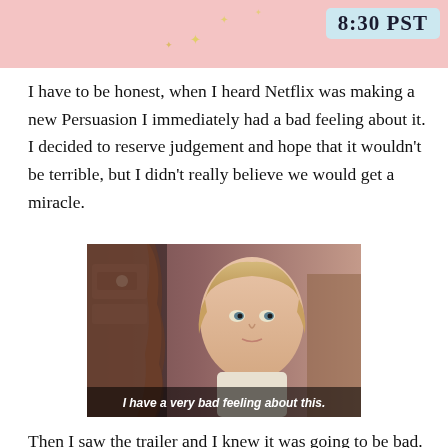[Figure (screenshot): Pink banner at top with decorative sparkles/stars and a blue time display showing '8:30 PST']
I have to be honest, when I heard Netflix was making a new Persuasion I immediately had a bad feeling about it. I decided to reserve judgement and hope that it wouldn't be terrible, but I didn't really believe we would get a miracle.
[Figure (screenshot): Movie still showing a young man (Luke Skywalker) with subtitle text reading 'I have a very bad feeling about this.']
Then I saw the trailer and I knew it was going to be bad. I could see in those few clips they has completely misunderstood the character of Anne and that this was going to be another Mansfield Park (1999).